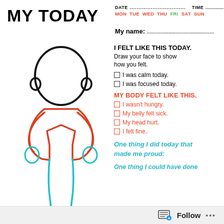MY TODAY
DATE ........................... TIME ..............
MON TUE WED THU FRI SAT SUN
My name: ....................................
I FELT LIKE THIS TODAY.
Draw your face to show how you felt.
I was calm today.
I was focused today.
MY BODY FELT LIKE THIS.
I wasn't hungry.
My belly felt sick.
My head hurt.
I felt fine.
One thing I did today that made me proud:
One thing I could have done
[Figure (illustration): Outline drawing of a child figure: black head/face outline at top, orange/red torso with arms, cyan/teal legs and hands.]